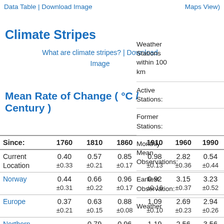Data Table | Download Image   Maps View)
Climate Stripes
What are climate stripes? | Download Image
Mean Rate of Change ( °C / Century )
| Since: | 1760 | 1810 | 1860 | 1910 | 1960 | 1990 |
| --- | --- | --- | --- | --- | --- | --- |
| Current Location | 0.40
±0.33 | 0.57
±0.21 | 0.85
±0.17 | 0.98
±0.13 | 2.82
±0.36 | 0.54
±0.44 |
| Norway | 0.44
±0.31 | 0.66
±0.22 | 0.96
±0.17 | 0.92
±0.16 | 3.15
±0.37 | 3.23
±0.52 |
| Europe | 0.37
±0.21 | 0.63
±0.15 | 0.88
±0.08 | 1.09
±0.10 | 2.69
±0.23 | 2.94
±0.26 |
| Northern... |  | 0.79 | 0.96 | 1.19 | 2.56 | 3.56 |
Weather Stations within 100 km
Active Stations:
Former Stations:
Monthly Mean Observations:
Earliest Observation:
Weather